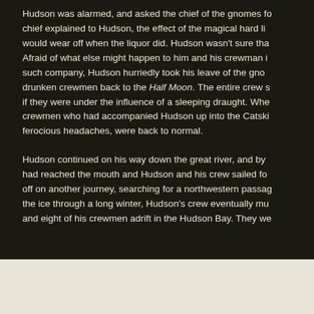Hudson was alarmed, and asked the chief of the gnomes fo chief explained to Hudson, the effect of the magical hard li would wear off when the liquor did. Hudson wasn't sure tha Afraid of what else might happen to him and his crewman i such company, Hudson hurriedly took his leave of the gno drunken crewmen back to the Half Moon. The entire crew s if they were under the influence of a sleeping draught. Whe crewmen who had accompanied Hudson up into the Catski ferocious headaches, were back to normal.
Hudson continued on his way down the great river, and by had reached the mouth and Hudson and his crew sailed fo off on another journey, searching for a northwestern passag the ice through a long winter, Hudson's crew eventually mu and eight of his crewmen adrift in the Hudson Bay. They we